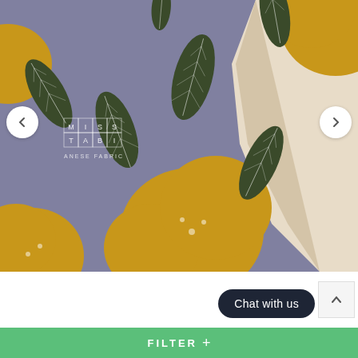[Figure (photo): Close-up photo of Japanese fabric with a floral/botanical pattern featuring mustard yellow flower and leaf shapes on a grey-purple background, with the corner folded back to reveal a natural beige canvas reverse. Miss Matatabi Japanese Fabric logo overlaid in white on the left side. Navigation arrows on left and right edges.]
Chat with us
Hobble Scotch Slender P...
FILTER +